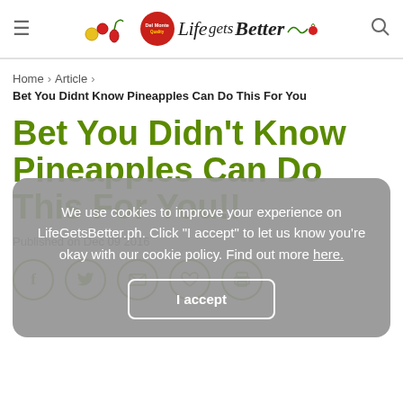Del Monte Life Gets Better
Home > Article > Bet You Didnt Know Pineapples Can Do This For You
Bet You Didn't Know Pineapples Can Do This For You!!
Published on Dec 09 2016
We use cookies to improve your experience on LifeGetsBetter.ph. Click "I accept" to let us know you're okay with our cookie policy. Find out more here.